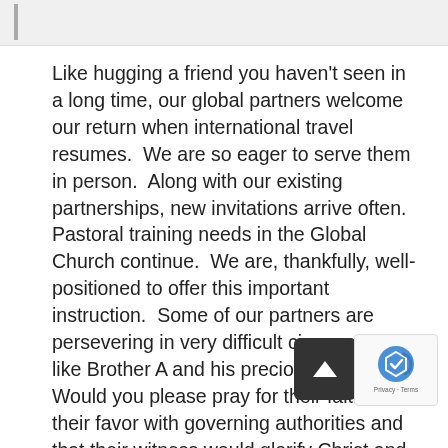Like hugging a friend you haven't seen in a long time, our global partners welcome our return when international travel resumes.  We are so eager to serve them in person.  Along with our existing partnerships, new invitations arrive often.  Pastoral training needs in the Global Church continue.  We are, thankfully, well-positioned to offer this important instruction.  Some of our partners are persevering in very difficult circumstances, like Brother A and his precious family.  Would you please pray for their faith, for their favor with governing authorities and that their witness would glorify Christ and bring many to Himself?